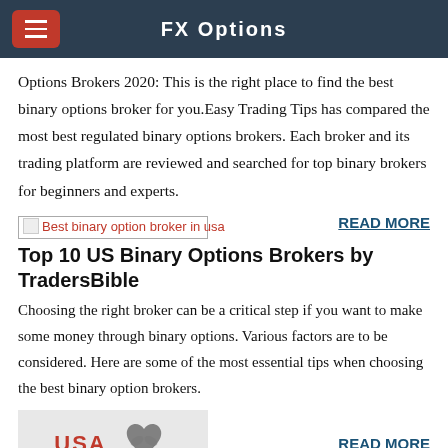FX Options
Options Brokers 2020: This is the right place to find the best binary options broker for you.Easy Trading Tips has compared the most best regulated binary options brokers. Each broker and its trading platform are reviewed and searched for top binary brokers for beginners and experts.
[Figure (other): Broken image placeholder labeled 'Best binary option broker in usa']
READ MORE
Top 10 US Binary Options Brokers by TradersBible
Choosing the right broker can be a critical step if you want to make some money through binary options. Various factors are to be considered. Here are some of the most essential tips when choosing the best binary option brokers.
[Figure (other): Image box showing USA label and bird logo graphic]
READ MORE